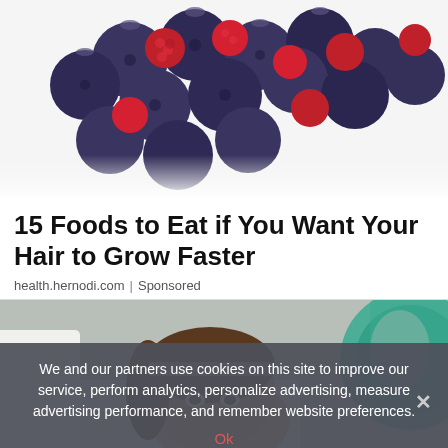[Figure (photo): Close-up photo of mixed berries including blueberries and red raspberries/cranberries on a white background, cropped from top]
15 Foods to Eat if You Want Your Hair to Grow Faster
health.hernodi.com | Sponsored
[Figure (photo): Photo of a woman lying back in a dental chair, wearing a white bib, with a dental professional in a lab coat visible and a teal/green light in the background]
We and our partners use cookies on this site to improve our service, perform analytics, personalize advertising, measure advertising performance, and remember website preferences.
Ok